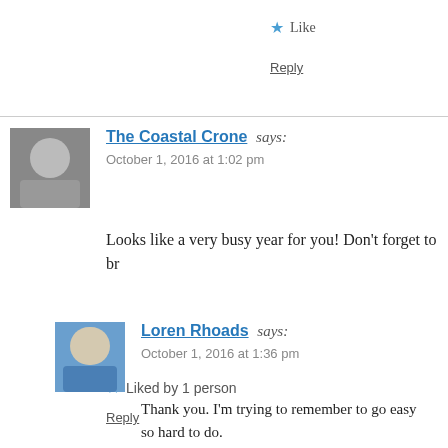★ Like
Reply
The Coastal Crone says:
October 1, 2016 at 1:02 pm
Looks like a very busy year for you! Don't forget to br
★ Liked by 1 person
Reply
[Figure (photo): Avatar photo of The Coastal Crone commenter]
Loren Rhoads says:
October 1, 2016 at 1:36 pm
[Figure (photo): Avatar photo of Loren Rhoads commenter]
Thank you. I'm trying to remember to go easy so hard to do.